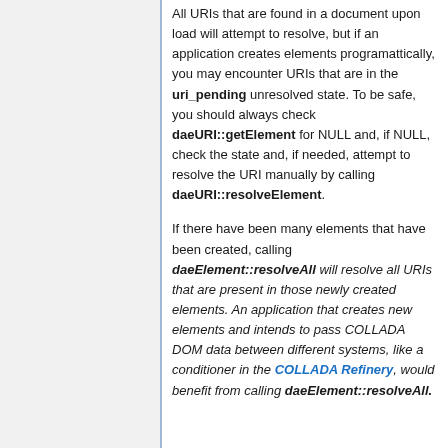All URIs that are found in a document upon load will attempt to resolve, but if an application creates elements programattically, you may encounter URIs that are in the uri_pending unresolved state. To be safe, you should always check daeURI::getElement for NULL and, if NULL, check the state and, if needed, attempt to resolve the URI manually by calling daeURI::resolveElement.
If there have been many elements that have been created, calling daeElement::resolveAll will resolve all URIs that are present in those newly created elements. An application that creates new elements and intends to pass COLLADA DOM data between different systems, like a conditioner in the COLLADA Refinery, would benefit from calling daeElement::resolveAll.